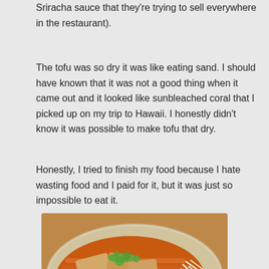Sriracha sauce that they're trying to sell everywhere in the restaurant).
The tofu was so dry it was like eating sand. I should have known that it was not a good thing when it came out and it looked like sunbleached coral that I picked up on my trip to Hawaii. I honestly didn't know it was possible to make tofu that dry.
Honestly, I tried to finish my food because I hate wasting food and I paid for it, but it was just so impossible to eat it.
[Figure (photo): A plate of Pad Thai noodles with tofu, garnished with green onions, bean sprouts, and a wedge of lime on a metal plate.]